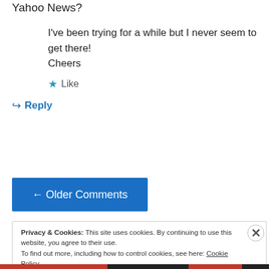Yahoo News?
I've been trying for a while but I never seem to get there!
Cheers
★ Like
↪ Reply
← Older Comments
Privacy & Cookies: This site uses cookies. By continuing to use this website, you agree to their use.
To find out more, including how to control cookies, see here: Cookie Policy
Close and accept